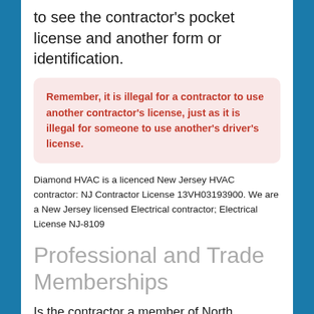to see the contractor's pocket license and another form or identification.
Remember, it is illegal for a contractor to use another contractor's license, just as it is illegal for someone to use another's driver's license.
Diamond HVAC is a licenced New Jersey HVAC contractor: NJ Contractor License 13VH03193900. We are a New Jersey licensed Electrical contractor; Electrical License NJ-8109
Professional and Trade Memberships
Is the contractor a member of North American Technician Excellence (NATE)?